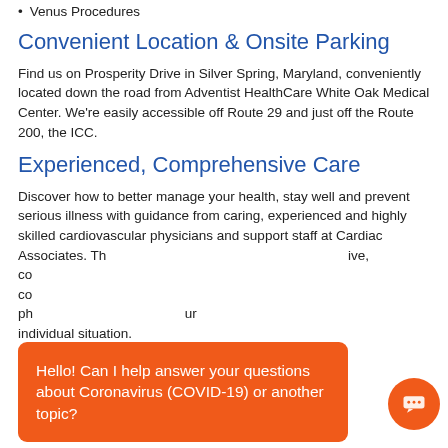Venus Procedures
Convenient Location & Onsite Parking
Find us on Prosperity Drive in Silver Spring, Maryland, conveniently located down the road from Adventist HealthCare White Oak Medical Center. We're easily accessible off Route 29 and just off the Route 200, the ICC.
Experienced, Comprehensive Care
Discover how to better manage your health, stay well and prevent serious illness with guidance from caring, experienced and highly skilled cardiovascular physicians and support staff at Cardiac Associates. Th... ive, co... co... ph... ur individual situation.
Hello! Can I help answer your questions about Coronavirus (COVID-19) or another topic?